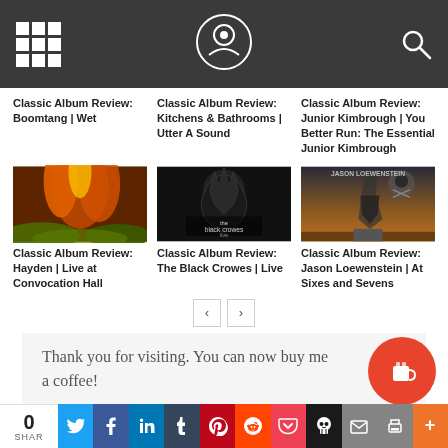Navigation header with grid menu, logo, and search icon
Classic Album Review: Boomtang | Wet
Classic Album Review: Kitchens & Bathrooms | Utter A Sound
Classic Album Review: Junior Kimbrough | You Better Run: The Essential Junior Kimbrough
[Figure (photo): Album cover for Hayden - Live at Convocation Hall, showing fire and tropical vegetation]
Classic Album Review: Hayden | Live at Convocation Hall
[Figure (photo): Album cover for The Black Crowes - Live, dark monochrome image with band members]
Classic Album Review: The Black Crowes | Live
[Figure (photo): Album cover for Jason Loewenstein - At Sixes and Sevens, showing a tornado and skull crossbones logo]
Classic Album Review: Jason Loewenstein | At Sixes and Sevens
Thank you for visiting. You can now buy me a coffee!
0 SHAR | Social share buttons: Twitter, Facebook, LinkedIn, Tumblr, Pinterest, Reddit, Pocket, Skull icon, Email, Print, More